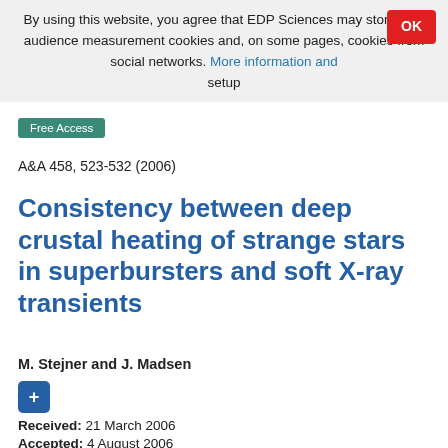By using this website, you agree that EDP Sciences may store web audience measurement cookies and, on some pages, cookies from social networks. More information and setup
Free Access
A&A 458, 523-532 (2006)
Consistency between deep crustal heating of strange stars in superbursters and soft X-ray transients
M. Stejner and J. Madsen
Received: 21 March 2006
Accepted: 4 August 2006